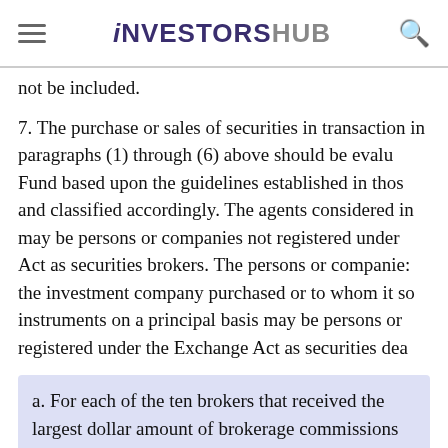investorshub
not be included.
7. The purchase or sales of securities in transaction in paragraphs (1) through (6) above should be evaluated by the Fund based upon the guidelines established in those paragraphs and classified accordingly. The agents considered in may be persons or companies not registered under the Act as securities brokers. The persons or companies the investment company purchased or to whom it sold instruments on a principal basis may be persons or registered under the Exchange Act as securities dea
a. For each of the ten brokers that received the largest dollar amount of brokerage commissions (excluding dealer concessions in